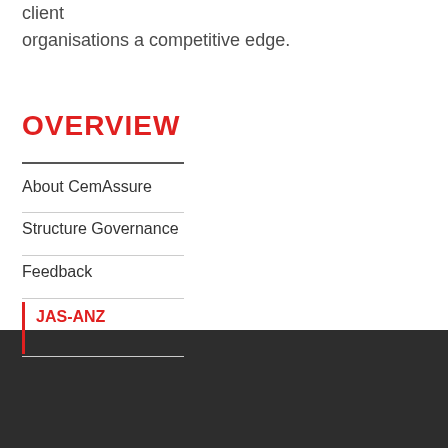client organisations a competitive edge.
OVERVIEW
About CemAssure
Structure Governance
Feedback
JAS-ANZ